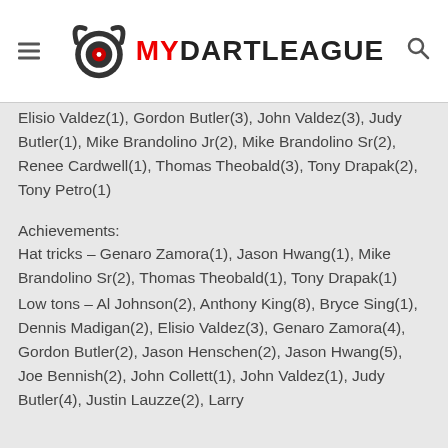MYDARTLEAGUE
Elisio Valdez(1), Gordon Butler(3), John Valdez(3), Judy Butler(1), Mike Brandolino Jr(2), Mike Brandolino Sr(2), Renee Cardwell(1), Thomas Theobald(3), Tony Drapak(2), Tony Petro(1)
Achievements:
Hat tricks – Genaro Zamora(1), Jason Hwang(1), Mike Brandolino Sr(2), Thomas Theobald(1), Tony Drapak(1)
Low tons – Al Johnson(2), Anthony King(8), Bryce Sing(1), Dennis Madigan(2), Elisio Valdez(3), Genaro Zamora(4), Gordon Butler(2), Jason Henschen(2), Jason Hwang(5), Joe Bennish(2), John Collett(1), John Valdez(1), Judy Butler(4), Justin Lauzze(2), Larry